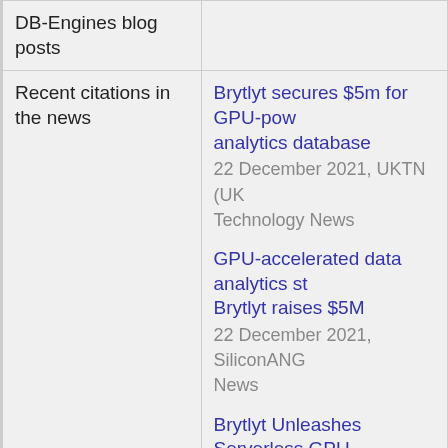|  |  |
| --- | --- |
| DB-Engines blog posts |  |
| Recent citations in the news | Brytlyt secures $5m for GPU-powered analytics database
22 December 2021, UKTN (UK Technology News)

GPU-accelerated data analytics startup Brytlyt raises $5M
22 December 2021, SiliconANGLE News

Brytlyt Unleashes Serverless GPU... |